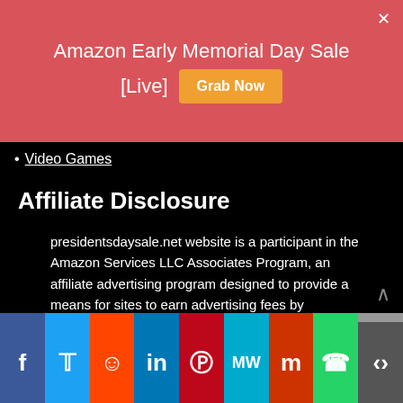Amazon Early Memorial Day Sale [Live] Grab Now
Video Games
Affiliate Disclosure
presidentsdaysale.net website is a participant in the Amazon Services LLC Associates Program, an affiliate advertising program designed to provide a means for sites to earn advertising fees by advertising and linking to Amazon properties including, but not limited to, amazon.com, endless.com, myhabit.com, smallparts.com, or amazonwireless.com. The Website Also Earns from Viglink Affiliate.
Social share icons: Facebook, Twitter, Reddit, LinkedIn, Pinterest, MeWe, Mix, WhatsApp, Share